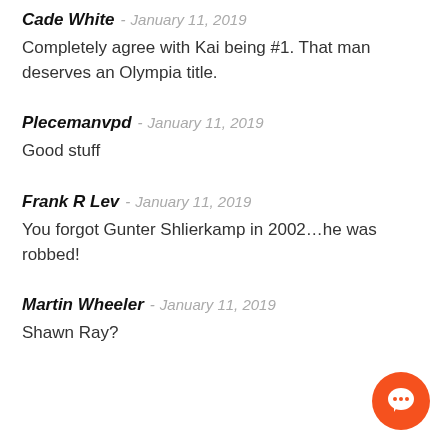Cade White - January 11, 2019
Completely agree with Kai being #1. That man deserves an Olympia title.
Plecemanvpd - January 11, 2019
Good stuff
Frank R Lev - January 11, 2019
You forgot Gunter Shlierkamp in 2002...he was robbed!
Martin Wheeler - January 11, 2019
Shawn Ray?
[Figure (other): Orange circular chat button icon with speech bubble]